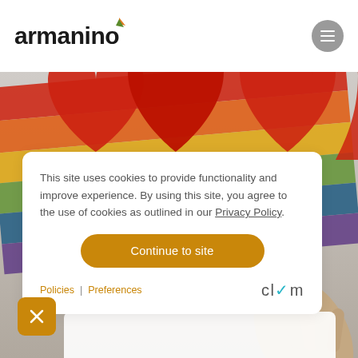[Figure (logo): Armanino company logo with text 'armanino' in dark bold font and a small orange/green leaf accent above the letter 'o']
[Figure (photo): Background photo of rainbow-colored paper hearts held by a hand, with red, orange, yellow, green, blue colors visible]
This site uses cookies to provide functionality and improve experience. By using this site, you agree to the use of cookies as outlined in our Privacy Policy.
Continue to site
Policies | Preferences
[Figure (logo): Clym logo — text 'clym' with a teal/cyan checkmark accent on the letter 'y']